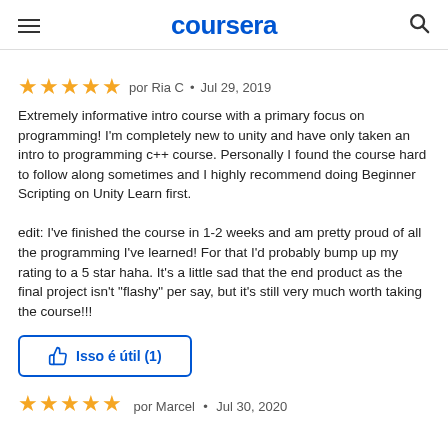coursera
★★★★★ por Ria C • Jul 29, 2019
Extremely informative intro course with a primary focus on programming! I'm completely new to unity and have only taken an intro to programming c++ course. Personally I found the course hard to follow along sometimes and I highly recommend doing Beginner Scripting on Unity Learn first.

edit: I've finished the course in 1-2 weeks and am pretty proud of all the programming I've learned! For that I'd probably bump up my rating to a 5 star haha. It's a little sad that the end product as the final project isn't "flashy" per say, but it's still very much worth taking the course!!!
Isso é útil (1)
★★★★★ por Marcel • Jul 30, 2020